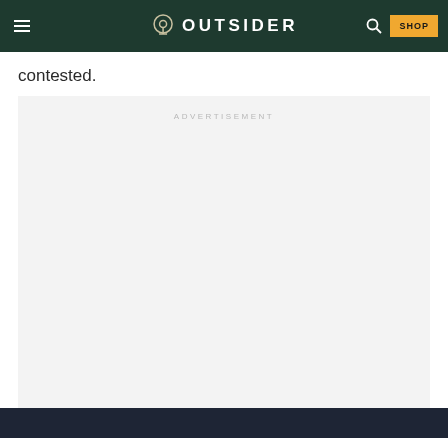OUTSIDER
contested.
[Figure (other): Advertisement placeholder box with light gray background and 'ADVERTISEMENT' label in gray text]